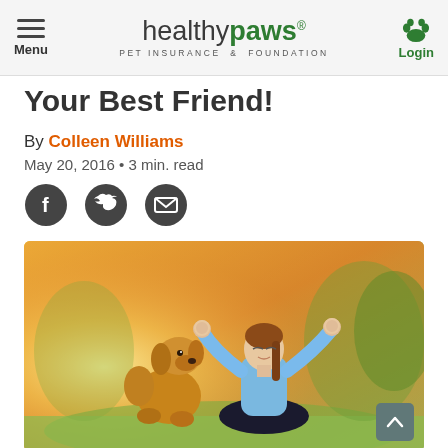Healthy Paws Pet Insurance & Foundation — Menu | Login
Your Best Friend!
By Colleen Williams
May 20, 2016 • 3 min. read
[Figure (infographic): Social sharing icons: Facebook, Twitter, Email]
[Figure (photo): Woman meditating outdoors in yoga pose with a golden retriever dog beside her, warm sunlit background with greenery.]